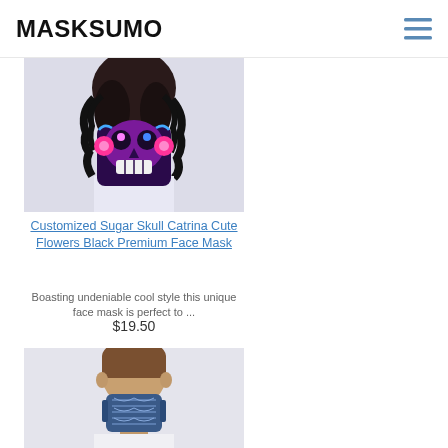MASKSUMO
[Figure (photo): Woman wearing a colorful sugar skull / Catrina style face mask with purple, blue and pink floral design against a light background, cropped to show chin and neck area]
Customized Sugar Skull Catrina Cute Flowers Black Premium Face Mask
Boasting undeniable cool style this unique face mask is perfect to ...
$19.50
[Figure (photo): Man wearing a blue patterned face mask, shown from chin to top of head, light gray background]